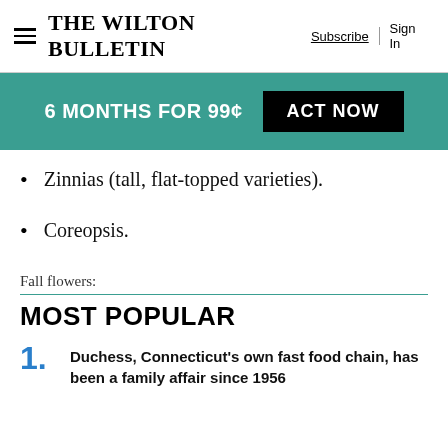The Wilton Bulletin — Subscribe | Sign In
[Figure (infographic): Teal promotional banner: '6 MONTHS FOR 99¢' with black 'ACT NOW' button]
Zinnias (tall, flat-topped varieties).
Coreopsis.
Fall flowers:
MOST POPULAR
1. Duchess, Connecticut's own fast food chain, has been a family affair since 1956